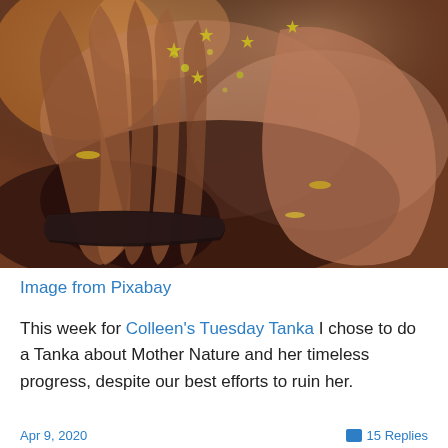[Figure (photo): Close-up photo of a person's hands with rings and a bracelet, cupping small gold star-shaped glitter/confetti, warm brown tones]
Image from Pixabay
This week for Colleen's Tuesday Tanka I chose to do a Tanka about Mother Nature and her timeless progress, despite our best efforts to ruin her.
Apr 9, 2020   15 Replies